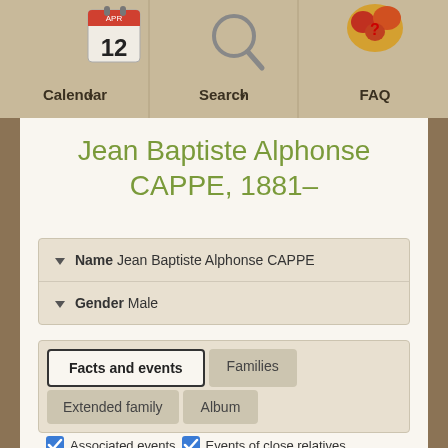[Figure (screenshot): Navigation bar with Calendar, Search, FAQ icons]
Jean Baptiste Alphonse CAPPE, 1881–
▼ Name Jean Baptiste Alphonse CAPPE
▼ Gender Male
Facts and events | Families | Extended family | Album
☑ Associated events ☑ Events of close relatives
| Event | Details |
| --- | --- |
| Birth | August 14, 1881 ♂ 40 ♀ 40
Santes, Nord, France |